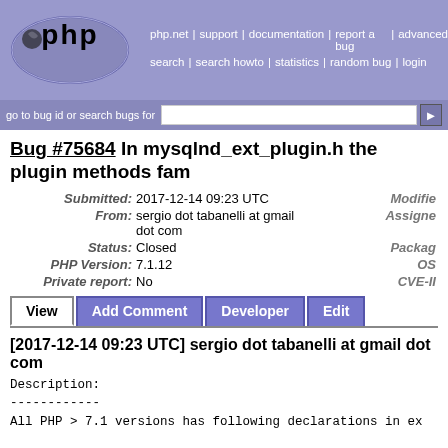[Figure (logo): PHP bug tracker logo with elephant mascot in oval blue/grey design]
php.net | support | documentation | report a bug | advanced search | search howto | statistics | random bug | login
Bug #75684 In mysqlnd_ext_plugin.h the plugin methods fam...
| Label | Value |
| --- | --- |
| Submitted: | 2017-12-14 09:23 UTC |
| From: | sergio dot tabanelli at gmail dot com |
| Status: | Closed |
| PHP Version: | 7.1.12 |
| Private report: | No |
[2017-12-14 09:23 UTC] sergio dot tabanelli at gmail dot com
Description:
------------
All PHP > 7.1 versions has following declarations in ex

extern struct st_mysqlnd_plugin__plugin_area_getters my
....
....
extern struct st_mysqlnd_plugin_methods_xetters mysqlnd